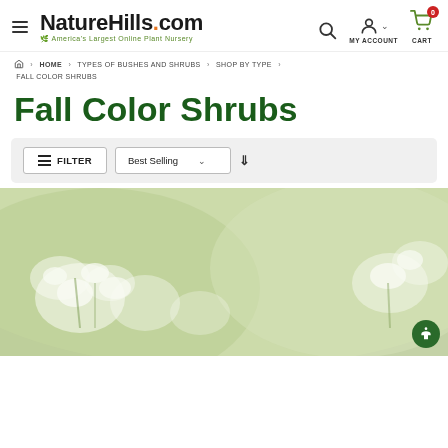NatureHills.com — America's Largest Online Plant Nursery
HOME > TYPES OF BUSHES AND SHRUBS > SHOP BY TYPE > FALL COLOR SHRUBS
Fall Color Shrubs
FILTER | Best Selling ▾
[Figure (photo): Blurred photo of white flowers with green foliage in background — decorative banner for Fall Color Shrubs category page]